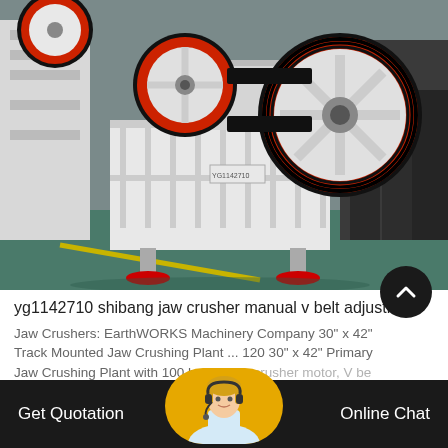[Figure (photo): Industrial jaw crusher machine in factory setting. White metal frame with large black and red flywheel visible. Multiple jaw crushers in background. Green painted factory floor.]
yg1142710 shibang jaw crusher manual v belt adjustme...
Jaw Crushers: EarthWORKS Machinery Company 30" x 42" Track Mounted Jaw Crushing Plant ... 120 30" x 42" Primary Jaw Crushing Plant with 100 hp electric crusher motor, V be...
[Figure (illustration): Scroll to top button - dark circular button with upward chevron arrow]
[Figure (illustration): Customer service avatar on yellow/orange pill-shaped button in bottom bar]
Get Quotation
Online Chat